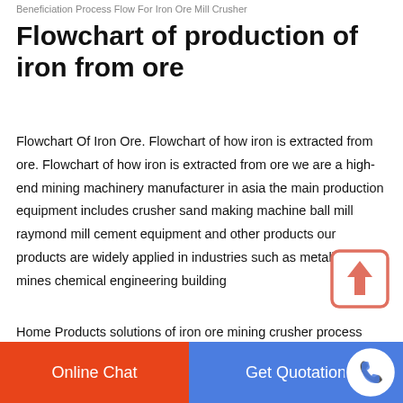Beneficiation Process Flow For Iron Ore Mill Crusher
Flowchart of production of iron from ore
Flowchart Of Iron Ore. Flowchart of how iron is extracted from ore. Flowchart of how iron is extracted from ore we are a high-end mining machinery manufacturer in asia the main production equipment includes crusher sand making machine ball mill raymond mill cement equipment and other products our products are widely applied in industries such as metallurgy mines chemical engineering building
[Figure (other): Upload/scroll-to-top button icon: orange-bordered square with upward arrow]
Home Products solutions of iron ore mining crusher process flow
Online Chat | Get Quotation | Phone button